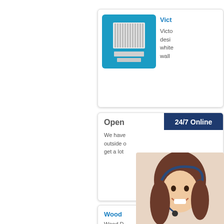[Figure (illustration): Product card with blue background showing a white wall vent/grille product image]
Vict
Victo design white wall
[Figure (illustration): Card with 'Open' text and '24/7 Online' dark blue badge header, followed by truncated text: We have outside o get a lot]
Open 24/7 Online
We have outside o get a lot
[Figure (photo): Smiling woman with headset/microphone overlay popup with dark blue background, 'Have any requests, click here.' in italic bold white text and orange 'Quotation' button]
Have any requests, click here.
Quotation
Wood
Wood D Slot Flus $65.00 -